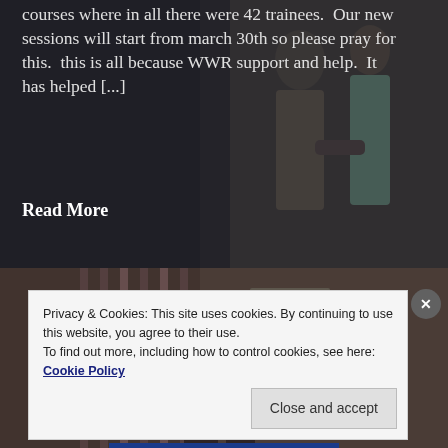[Figure (photo): Background photo of people in a room, partially visible, with dark overlay on the left side]
courses where in all there were 42 trainees.  Our new sessions will start from march 30th so please pray for this.  this is all because WWR support and help.  It has helped [...]
Read More
[Figure (photo): Interior photo with staircase and people visible, with semi-transparent dark overlay]
RENEE HAS ARRIVED
Privacy & Cookies: This site uses cookies. By continuing to use this website, you agree to their use.
To find out more, including how to control cookies, see here: Cookie Policy
Close and accept